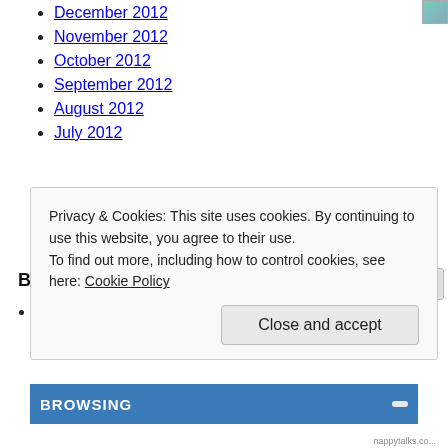December 2012
November 2012
October 2012
September 2012
August 2012
July 2012
BLOG STATS
8,005,566 hits
CATEGORIES
Privacy & Cookies: This site uses cookies. By continuing to use this website, you agree to their use. To find out more, including how to control cookies, see here: Cookie Policy
Close and accept